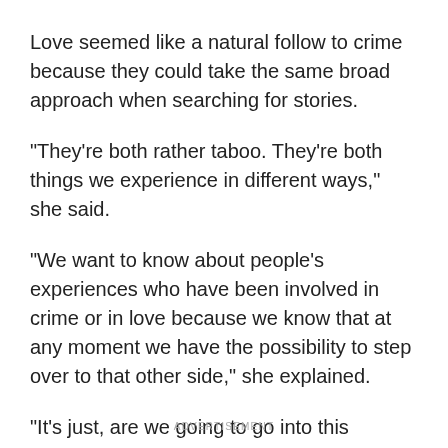Love seemed like a natural follow to crime because they could take the same broad approach when searching for stories.
"They're both rather taboo. They're both things we experience in different ways," she said.
"We want to know about people's experiences who have been involved in crime or in love because we know that at any moment we have the possibility to step over to that other side," she explained.
"It's just, are we going to go into this unknown?"
ADVERTISEMENT